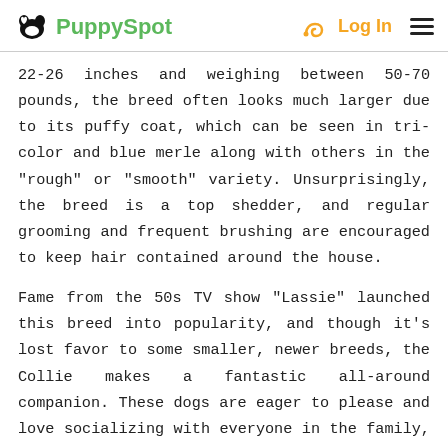PuppySpot  Log In
22-26 inches and weighing between 50-70 pounds, the breed often looks much larger due to its puffy coat, which can be seen in tri-color and blue merle along with others in the "rough" or "smooth" variety. Unsurprisingly, the breed is a top shedder, and regular grooming and frequent brushing are encouraged to keep hair contained around the house.
Fame from the 50s TV show "Lassie" launched this breed into popularity, and though it's lost favor to some smaller, newer breeds, the Collie makes a fantastic all-around companion. These dogs are eager to please and love socializing with everyone in the family, including children. They are considered very